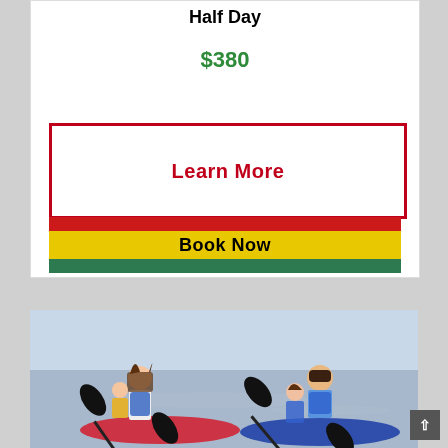Half Day
$380
Learn More
Book Now
[Figure (photo): Children and a woman kayaking on water wearing life vests, holding paddles, two kayaks visible]